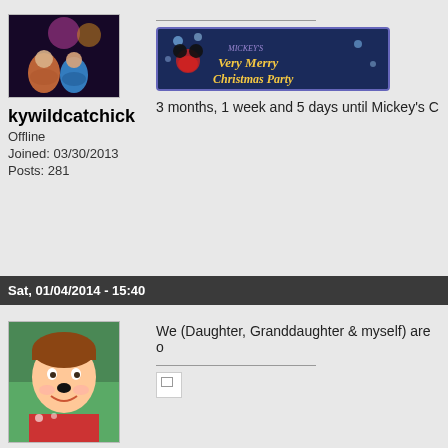[Figure (photo): Avatar photo of kywildcatchick - couple in front of illuminated Disney castle at night]
[Figure (photo): Mickey's Very Merry Christmas Party banner image]
3 months, 1 week and 5 days until Mickey's C
kywildcatchick
Offline
Joined: 03/30/2013
Posts: 281
Sat, 01/04/2014 - 15:40
We (Daughter, Granddaughter & myself) are o
[Figure (photo): Avatar photo of ea_willard - woman with face paint (Mickey Mouse nose) at Disney]
[Figure (photo): Broken image placeholder]
ea_willard
Offline
Joined: 01/04/2014
Posts: 9